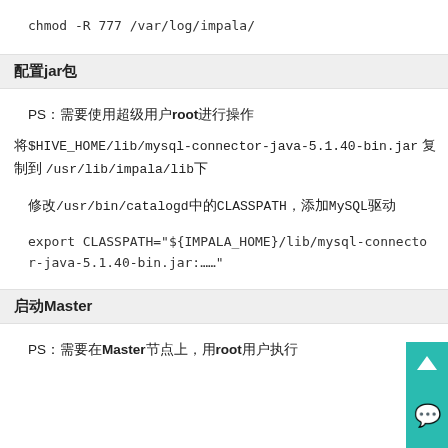chmod -R 777 /var/log/impala/
配置jar包
PS：需要使用超级用户root进行操作
将$HIVE_HOME/lib/mysql-connector-java-5.1.40-bin.jar 复制到 /usr/lib/impala/lib下
修改/usr/bin/catalogd中的CLASSPATH，添加MySQL驱动
export CLASSPATH="${IMPALA_HOME}/lib/mysql-connector-java-5.1.40-bin.jar:……"
启动Master
PS：需要在Master节点上，用root用户执行